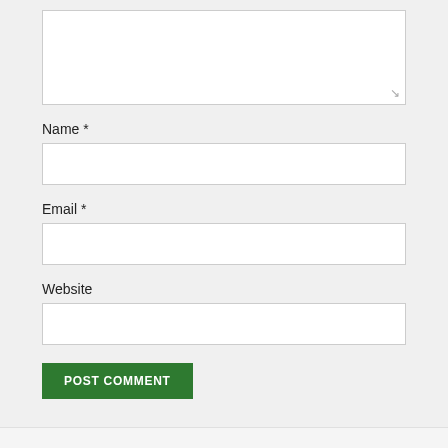Name *
Email *
Website
POST COMMENT
« Girl Scout cookies will be sold on Larchmont Blvd.
What's changed in Southern California since the last century? Everything. »